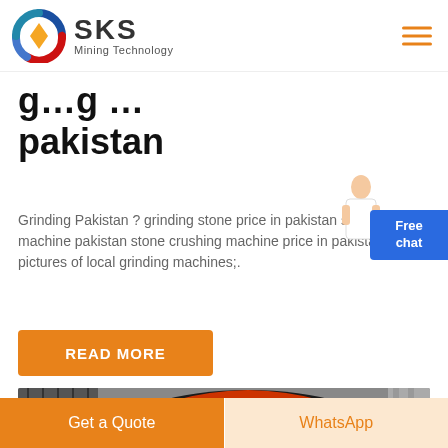SKS Mining Technology
grinding … pakistan
Grinding Pakistan ? grinding stone price in pakistan stone grinding machine pakistan stone crushing machine price in pakistan , pictures of local grinding machines;.
[Figure (photo): Industrial grinding/crushing machine with black and orange cylindrical drum in a factory setting]
READ MORE
Get a Quote
WhatsApp